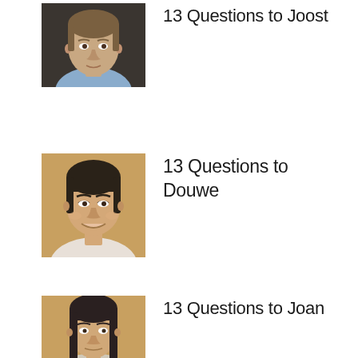[Figure (photo): Portrait photo of Joost, young man with light brown hair]
13 Questions to Joost
[Figure (photo): Portrait photo of Douwe, man with dark hair, smiling]
13 Questions to Douwe
[Figure (photo): Portrait photo of Joan, woman with long dark hair]
13 Questions to Joan